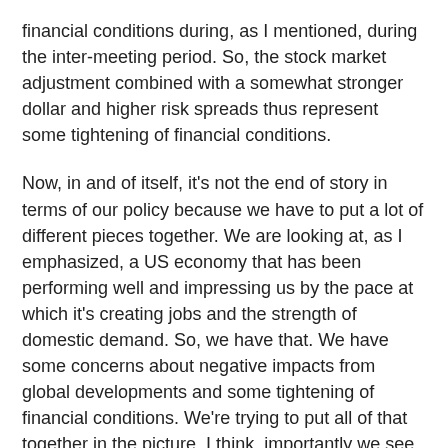financial conditions during, as I mentioned, during the inter-meeting period. So, the stock market adjustment combined with a somewhat stronger dollar and higher risk spreads thus represent some tightening of financial conditions.
Now, in and of itself, it's not the end of story in terms of our policy because we have to put a lot of different pieces together. We are looking at, as I emphasized, a US economy that has been performing well and impressing us by the pace at which it's creating jobs and the strength of domestic demand. So, we have that. We have some concerns about negative impacts from global developments and some tightening of financial conditions. We're trying to put all of that together in the picture. I think, importantly we see in our statement that in spite of all of this, we continue to view the risks to economic activity and labor markets as balanced. So, it's a lot of different pieces, different cross currents, some strengthening the outlook, some creating concerns, but overall, no significant change in the economic outlook.